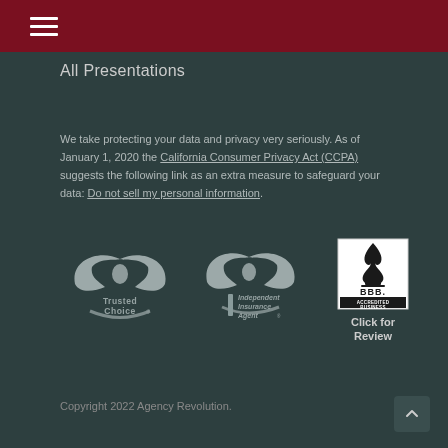All Presentations
We take protecting your data and privacy very seriously. As of January 1, 2020 the California Consumer Privacy Act (CCPA) suggests the following link as an extra measure to safeguard your data: Do not sell my personal information.
[Figure (logo): Trusted Choice logo - winged emblem with 'Trusted Choice' text and registered trademark symbol]
[Figure (logo): Independent Insurance Agent logo - winged emblem with italic text 'Independent Insurance Agent' and trademark symbol]
[Figure (logo): BBB Accredited Business badge in black and white with 'Click for Review' text below]
Copyright 2022 Agency Revolution.